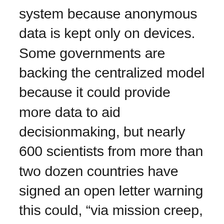system because anonymous data is kept only on devices. Some governments are backing the centralized model because it could provide more data to aid decisionmaking, but nearly 600 scientists from more than two dozen countries have signed an open letter warning this could, “via mission creep, result in systems which would allow unprecedented surveillance of society at large.” Apple and Google waded into the fray by backing the decentralized approach as they unveiled a joint effort to develop virus-fighting digital tools. The tech giants are releasing a software interface so public health agencies can integrate their apps with